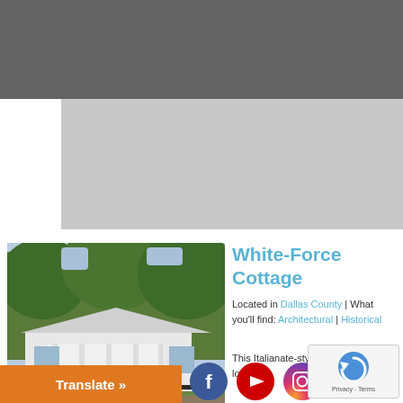White-Force Cottage – Alabama historical site page header with navigation
[Figure (photo): Photograph of White-Force Cottage, a white Italianate-style cottage with a front porch and black iron fence, surrounded by trees, in Selma, AL.]
White-Force Cottage
Located in Dallas County | What you'll find: Architectural | Historical
This Italianate-style cottage is located beside the historic Sturdivant Hall in Selma, AL. It was built in 1859 for Mr. and Mrs. Clement Billingslea White. Mrs. White was the former Martha Todd of Lexington, Kentucky, and Li ...